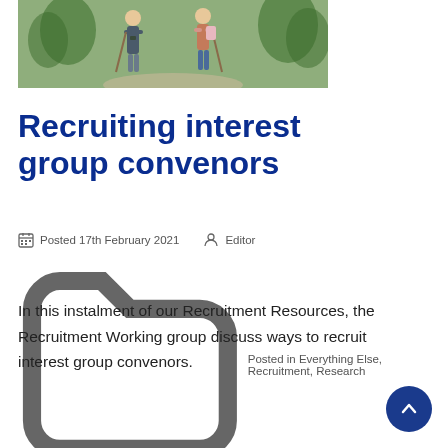[Figure (photo): Two people hiking with trekking poles and binoculars walking on a path outdoors]
Recruiting interest group convenors
Posted 17th February 2021   Editor
Posted in Everything Else, Recruitment, Research
In this instalment of our Recruitment Resources, the Recruitment Working group discuss ways to recruit interest group convenors.